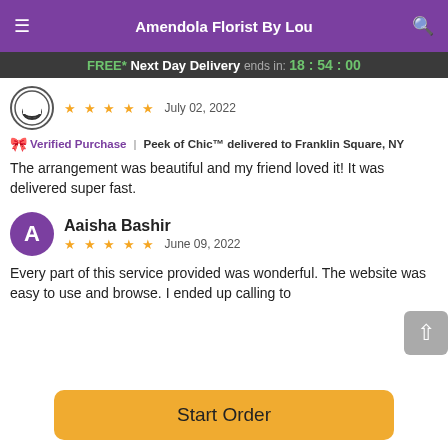Amendola Florist By Lou
FREE* Next Day Delivery ends in: 18:54:00
[Figure (illustration): Circular avatar with smiley face icon]
★★★★★ July 02, 2022
Verified Purchase | Peek of Chic™ delivered to Franklin Square, NY
The arrangement was beautiful and my friend loved it! It was delivered super fast.
[Figure (illustration): Purple circular avatar with letter A for Aaisha Bashir]
Aaisha Bashir
★★★★★ June 09, 2022
Every part of this service provided was wonderful. The website was easy to use and browse. I ended up calling to
Start Order